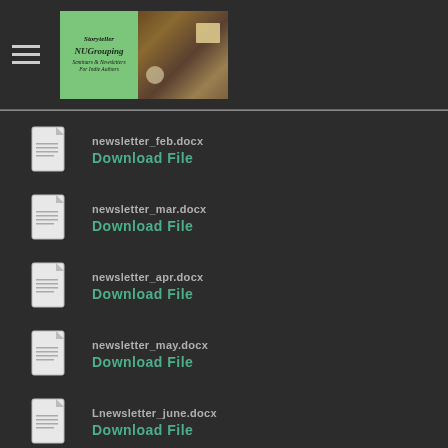Storyteller NUGrouping — Seminars & Newsletters for Indie Authors
newsletter_feb.docx — Download File
newsletter_mar.docx — Download File
newsletter_apr.docx — Download File
newsletter_may.docx — Download File
Lnewsletter_june.docx — Download File
newsletter_july.docx — Download File